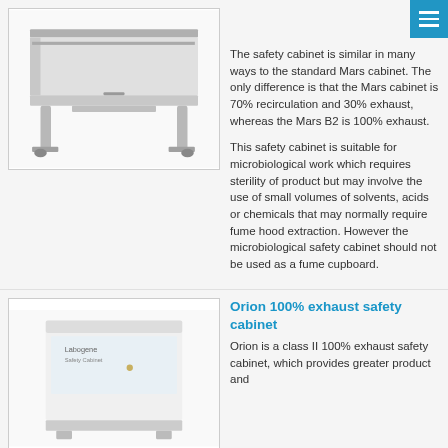[Figure (photo): Photo of a laboratory safety cabinet / bench with metal legs on wheels, white/grey finish, viewed from the front-side angle.]
The safety cabinet is similar in many ways to the standard Mars cabinet. The only difference is that the Mars cabinet is 70% recirculation and 30% exhaust, whereas the Mars B2 is 100% exhaust.
This safety cabinet is suitable for microbiological work which requires sterility of product but may involve the use of small volumes of solvents, acids or chemicals that may normally require fume hood extraction. However the microbiological safety cabinet should not be used as a fume cupboard.
[Figure (photo): Photo of a white Labogene safety cabinet (Orion model), front view showing the unit standing on the floor.]
Orion 100% exhaust safety cabinet
Orion is a class II 100% exhaust safety cabinet, which provides greater product and